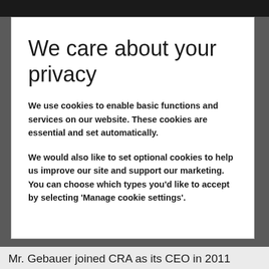We care about your privacy
We use cookies to enable basic functions and services on our website. These cookies are essential and set automatically.
We would also like to set optional cookies to help us improve our site and support our marketing. You can choose which types you'd like to accept by selecting 'Manage cookie settings'.
Mr. Gebauer joined CRA as its CEO in 2011